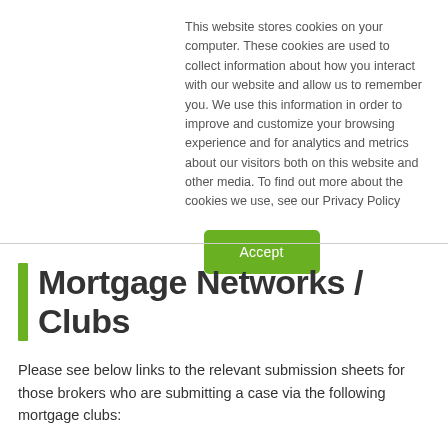This website stores cookies on your computer. These cookies are used to collect information about how you interact with our website and allow us to remember you. We use this information in order to improve and customize your browsing experience and for analytics and metrics about our visitors both on this website and other media. To find out more about the cookies we use, see our Privacy Policy
Accept
Mortgage Networks / Clubs
Please see below links to the relevant submission sheets for those brokers who are submitting a case via the following mortgage clubs: